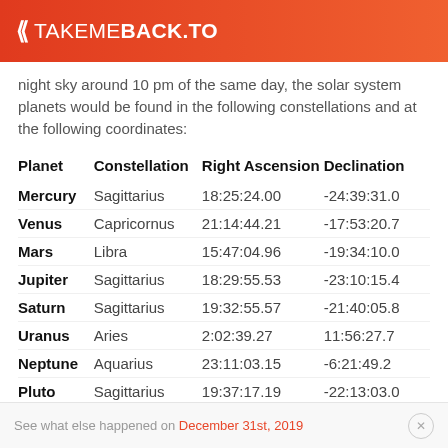TAKEMEBACK.TO
night sky around 10 pm of the same day, the solar system planets would be found in the following constellations and at the following coordinates:
| Planet | Constellation | Right Ascension | Declination |
| --- | --- | --- | --- |
| Mercury | Sagittarius | 18:25:24.00 | -24:39:31.0 |
| Venus | Capricornus | 21:14:44.21 | -17:53:20.7 |
| Mars | Libra | 15:47:04.96 | -19:34:10.0 |
| Jupiter | Sagittarius | 18:29:55.53 | -23:10:15.4 |
| Saturn | Sagittarius | 19:32:55.57 | -21:40:05.8 |
| Uranus | Aries | 2:02:39.27 | 11:56:27.7 |
| Neptune | Aquarius | 23:11:03.15 | -6:21:49.2 |
| Pluto | Sagittarius | 19:37:17.19 | -22:13:03.0 |
See what else happened on December 31st, 2019